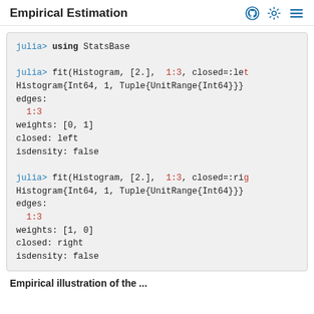Empirical Estimation
julia> using StatsBase

julia> fit(Histogram, [2.],  1:3, closed=:left)
Histogram{Int64, 1, Tuple{UnitRange{Int64}}}
edges:
  1:3
weights: [0, 1]
closed: left
isdensity: false

julia> fit(Histogram, [2.],  1:3, closed=:right)
Histogram{Int64, 1, Tuple{UnitRange{Int64}}}
edges:
  1:3
weights: [1, 0]
closed: right
isdensity: false
Empirical illustration of the ...